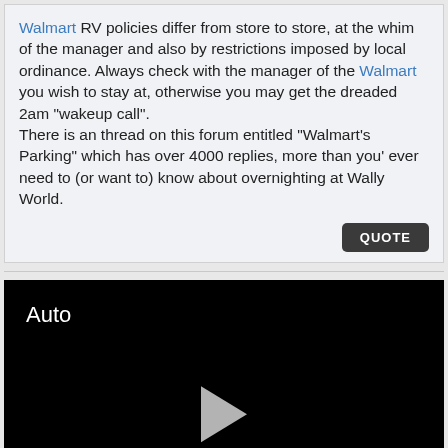Walmart RV policies differ from store to store, at the whim of the manager and also by restrictions imposed by local ordinance. Always check with the manager of the Walmart you wish to stay at, otherwise you may get the dreaded 2am "wakeup call". There is an thread on this forum entitled "Walmart's Parking" which has over 4000 replies, more than you' ever need to (or want to) know about overnighting at Wally World.
[Figure (screenshot): Black video player panel with 'Auto' label in top-left and a play button triangle in the center]